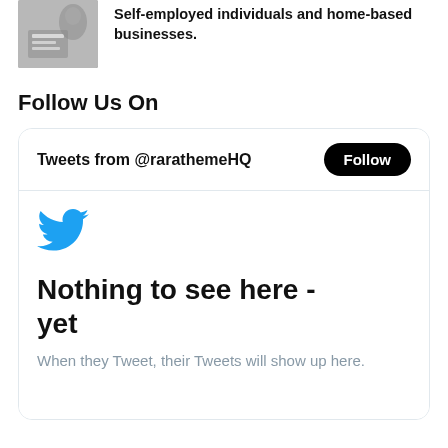[Figure (photo): Photo of hands writing/doing work, representing self-employed individuals and home-based businesses]
Self-employed individuals and home-based businesses.
Follow Us On
[Figure (screenshot): Twitter widget showing 'Tweets from @rarathemeHQ' with a Follow button, Twitter bird logo, and message 'Nothing to see here - yet. When they Tweet, their Tweets will show up here.']